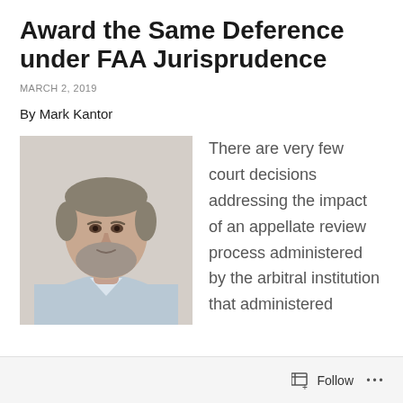Award the Same Deference under FAA Jurisprudence
MARCH 2, 2019
By Mark Kantor
[Figure (photo): Headshot of Mark Kantor, a middle-aged man with gray hair and beard, wearing a light blue shirt]
There are very few court decisions addressing the impact of an appellate review process administered by the arbitral institution that administered
Follow